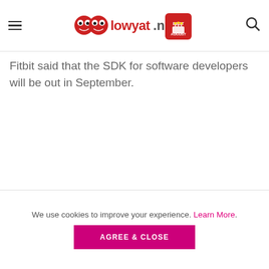lowyat.net (logo with August birthday badge)
Fitbit said that the SDK for software developers will be out in September.
We use cookies to improve your experience. Learn More. AGREE & CLOSE